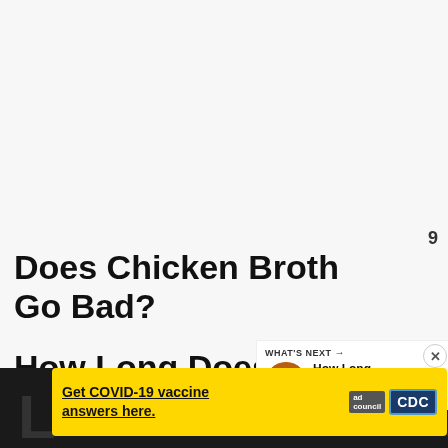[Figure (screenshot): White/light gray background area at top of page (placeholder for article image/hero area)]
Does Chicken Broth Go Bad?
[Figure (infographic): Teal circular heart/like button with count 9 and share button below]
How Long Does Chicken...
[Figure (other): WHAT'S NEXT panel with circular food thumbnail and text 'How Long Does Cooke...']
Get COVID-19 vaccine answers here.
[Figure (logo): Ad council and CDC logos on yellow banner ad]